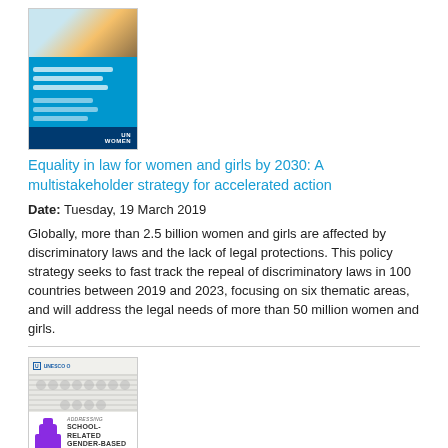[Figure (illustration): Book cover: Equality in law for women and girls by 2030 - UN Women publication with blue cover]
Equality in law for women and girls by 2030: A multistakeholder strategy for accelerated action
Date: Tuesday, 19 March 2019
Globally, more than 2.5 billion women and girls are affected by discriminatory laws and the lack of legal protections. This policy strategy seeks to fast track the repeal of discriminatory laws in 100 countries between 2019 and 2023, focusing on six thematic areas, and will address the legal needs of more than 50 million women and girls.
[Figure (illustration): Book cover: Global Guidance on Addressing School-Related Gender-Based Violence - UNESCO/UN Women publication]
Global Guidance on Addressing School-Related Gender-Based